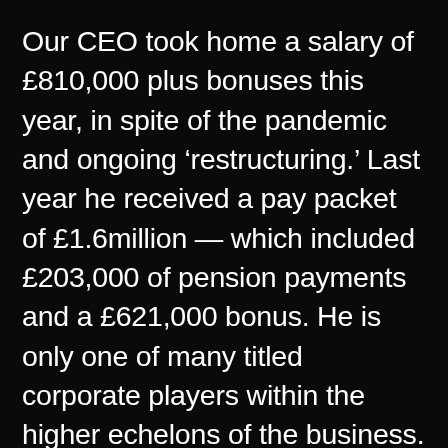Our CEO took home a salary of £810,000 plus bonuses this year, in spite of the pandemic and ongoing 'restructuring.' Last year he received a pay packet of £1.6million — which included £203,000 of pension payments and a £621,000 bonus. He is only one of many titled corporate players within the higher echelons of the business.